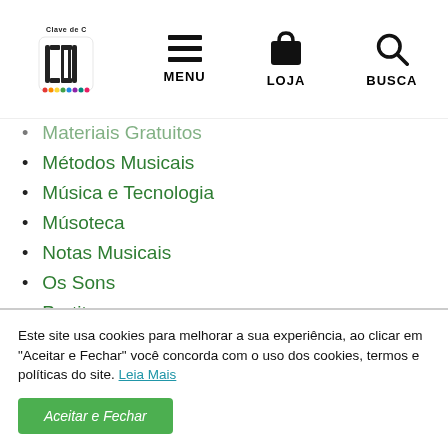Clave de C | MENU | LOJA | BUSCA
Materiais Gratuitos
Métodos Musicais
Música e Tecnologia
Músoteca
Notas Musicais
Os Sons
Partituras
Partituras Avulsas
Partituras Coloridas
Partituras para Flauta Doce
Percepção Musical
Este site usa cookies para melhorar a sua experiência, ao clicar em "Aceitar e Fechar" você concorda com o uso dos cookies, termos e políticas do site. Leia Mais
Aceitar e Fechar